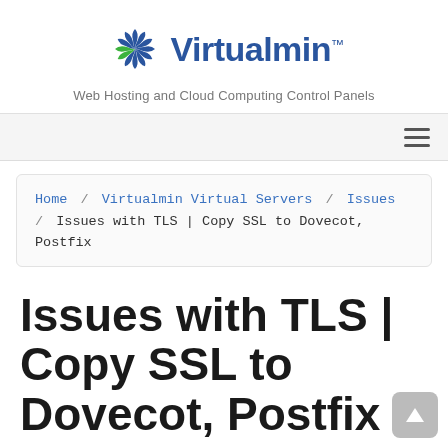[Figure (logo): Virtualmin logo with spinning wheel icon and text 'Virtualmin™']
Web Hosting and Cloud Computing Control Panels
[Figure (other): Hamburger menu icon (three horizontal lines)]
Home / Virtualmin Virtual Servers / Issues / Issues with TLS | Copy SSL to Dovecot, Postfix
Issues with TLS | Copy SSL to Dovecot, Postfix